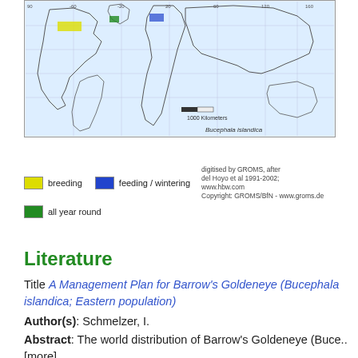[Figure (map): World distribution map of Bucephala islandica showing breeding, feeding/wintering, and all year round ranges. Map includes continent outlines with a scale bar showing 1000 Kilometers. Caption reads 'Bucephala islandica'.]
breeding   feeding / wintering   all year round
digitised by GROMS, after del Hoyo et al 1991-2002; www.hbw.com
Copyright: GROMS/BfN - www.groms.de
Literature
Title A Management Plan for Barrow's Goldeneye (Bucephala islandica; Eastern population)
Author(s): Schmelzer, I.
Abstract: The world distribution of Barrow's Goldeneye (Buce..[more]..
Source: Wildlife Division, Department of Environment and Conservation. Corner Brook, NL.
download full text (pdf)
Title Moult characteristics and habitat selection of postbreeding male Barrow's Goldeneye (Bucephala islandica)